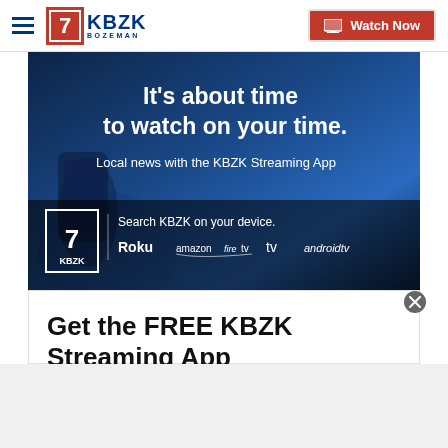KBZK Bozeman — Watch Now
[Figure (screenshot): KBZK streaming app promotional banner with dark blue background showing a hand holding a phone. Text reads: It's about time to watch on your time. Local news with the KBZK Streaming App. Search KBZK on your device. Roku, amazon fire tv, Apple TV, androidtv logos shown.]
Get the FREE KBZK Streaming App